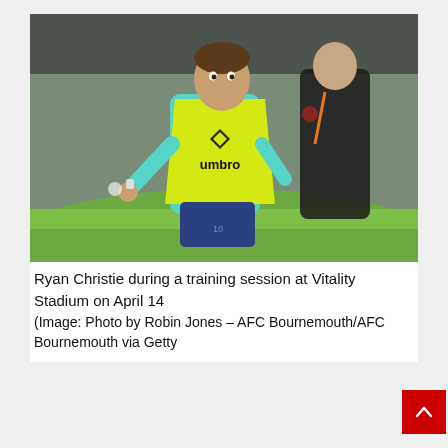[Figure (photo): Ryan Christie wearing a yellow Umbro training bib over a teal long-sleeve shirt and blue shorts, mid-motion on a grass training pitch. A man in a black tracksuit with an orange lanyard stands slightly blurred in the background.]
Ryan Christie during a training session at Vitality Stadium on April 14
(Image: Photo by Robin Jones – AFC Bournemouth/AFC Bournemouth via Getty